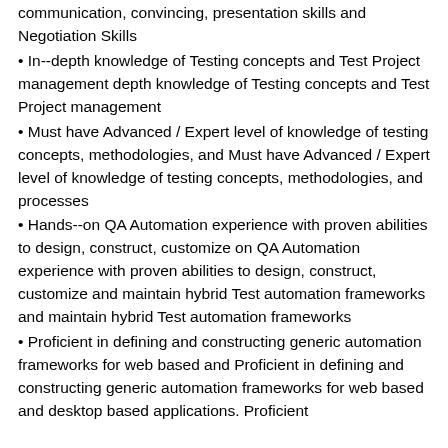communication, convincing, presentation skills and Negotiation Skills
• In--depth knowledge of Testing concepts and Test Project management depth knowledge of Testing concepts and Test Project management
• Must have Advanced / Expert level of knowledge of testing concepts, methodologies, and Must have Advanced / Expert level of knowledge of testing concepts, methodologies, and processes
• Hands--on QA Automation experience with proven abilities to design, construct, customize on QA Automation experience with proven abilities to design, construct, customize and maintain hybrid Test automation frameworks and maintain hybrid Test automation frameworks
• Proficient in defining and constructing generic automation frameworks for web based and Proficient in defining and constructing generic automation frameworks for web based and desktop based applications. Proficient